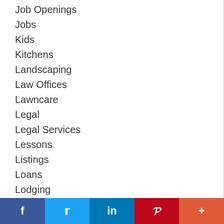Job Openings
Jobs
Kids
Kitchens
Landscaping
Law Offices
Lawncare
Legal
Legal Services
Lessons
Listings
Loans
Lodging
Lunch
f  t  in  P  +